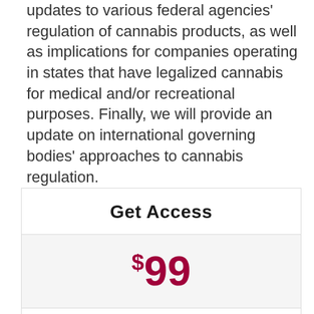updates to various federal agencies' regulation of cannabis products, as well as implications for companies operating in states that have legalized cannabis for medical and/or recreational purposes. Finally, we will provide an update on international governing bodies' approaches to cannabis regulation.
Get Access
$99
+$100 for nonmembers